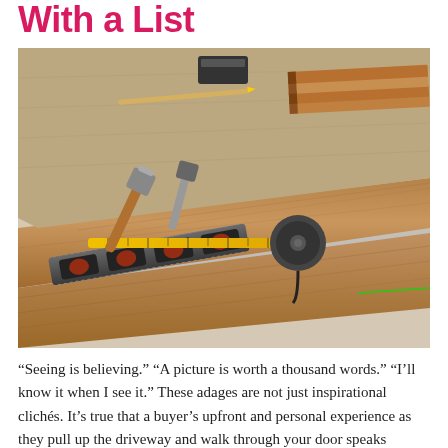With a List
[Figure (photo): Laminate flooring installation scene with wood planks, a spirit level, a yellow tape measure, a hammer, and a block chisel tool laid on a partially installed wooden floor over grey underlay.]
“Seeing is believing.” “A picture is worth a thousand words.” “I’ll know it when I see it.” These adages are not just inspirational clichés. It’s true that a buyer’s upfront and personal experience as they pull up the driveway and walk through your door speaks volumes. But are they the ultimate